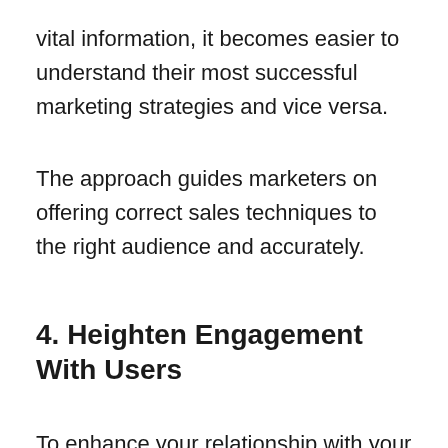vital information, it becomes easier to understand their most successful marketing strategies and vice versa.
The approach guides marketers on offering correct sales techniques to the right audience and accurately.
4. Heighten Engagement With Users
To enhance your relationship with your audience,